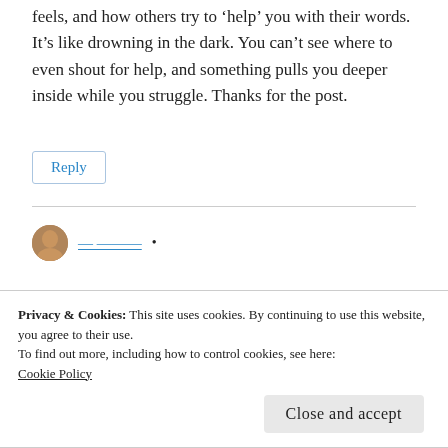feels, and how others try to 'help' you with their words.
It's like drowning in the dark. You can't see where to even shout for help, and something pulls you deeper inside while you struggle. Thanks for the post.
Reply
[Figure (photo): User avatar thumbnail - partial view of a person's photo]
Privacy & Cookies: This site uses cookies. By continuing to use this website, you agree to their use.
To find out more, including how to control cookies, see here:
Cookie Policy
Close and accept